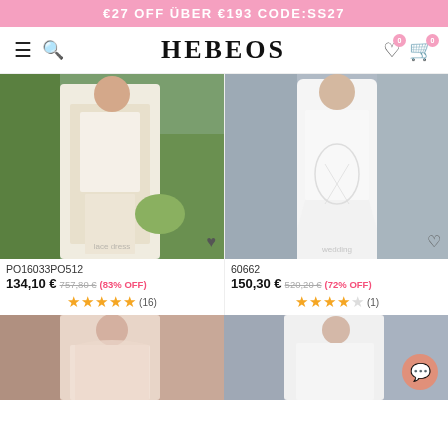€27 OFF ÜBER €193 CODE:SS27
HEBEOS
[Figure (photo): Bride in lace wedding dress in garden setting, back view]
PO16033PO512
134,10 € 757,80 € (83% OFF)
★★★★★ (16)
[Figure (photo): Bride in white mermaid wedding dress with embroidery, back view]
60662
150,30 € 520,20 € (72% OFF)
★★★★☆ (1)
[Figure (photo): Bride wearing lace back wedding dress with long sleeves]
[Figure (photo): Bride in white sleeveless wedding dress, grey background]